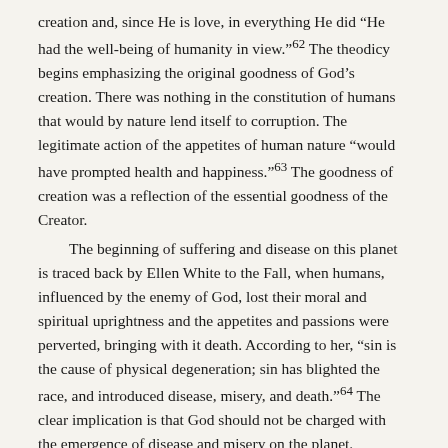creation and, since He is love, in everything He did “He had the well-being of humanity in view.”⁶² The theodicy begins emphasizing the original goodness of God’s creation. There was nothing in the constitution of humans that would by nature lend itself to corruption. The legitimate action of the appetites of human nature “would have prompted health and happiness.”⁶³ The goodness of creation was a reflection of the essential goodness of the Creator.
	The beginning of suffering and disease on this planet is traced back by Ellen White to the Fall, when humans, influenced by the enemy of God, lost their moral and spiritual uprightness and the appetites and passions were perverted, bringing with it death. According to her, “sin is the cause of physical degeneration; sin has blighted the race, and introduced disease, misery, and death.”⁶⁴ The clear implication is that God should not be charged with the emergence of disease and misery on the planet. Unfortunately, since then the tendency of the human race has been